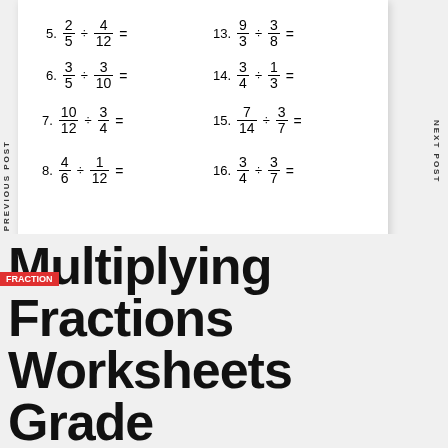Answer key: 5/10; 3 4/6; 4 4/9; 5 1/15; 6 3/10; 7 1/12; 8 7/12; 9 8/5 11 5/8 12 1/6 13 21/8 14 5/12 15 1/4 16 9/28
© www.bluebirdplanet.com
FRACTION
Multiplying Fractions Worksheets Grade